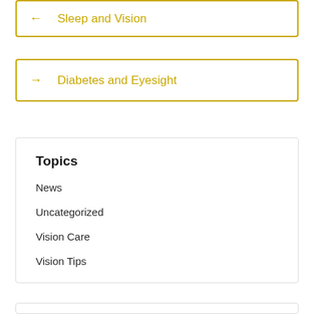← Sleep and Vision
→ Diabetes and Eyesight
Topics
News
Uncategorized
Vision Care
Vision Tips